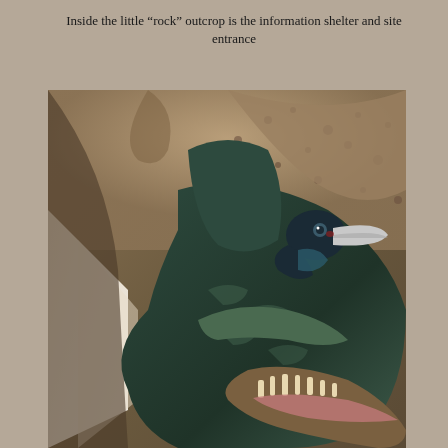Inside the little “rock” outcrop is the information shelter and site entrance
[Figure (photo): Close-up photograph inside a cave or rock outcrop showing a large dinosaur or dragon sculpture/model with an open mouth showing teeth, and a bird (possibly a toucan or similar) perched near its head. Light streams in through a narrow opening on the left. The rock walls have a textured, pitted surface.]